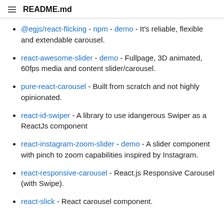README.md
@egjs/react-flicking - npm - demo - It's reliable, flexible and extendable carousel.
react-awesome-slider - demo - Fullpage, 3D animated, 60fps media and content slider/carousel.
pure-react-carousel - Built from scratch and not highly opinionated.
react-id-swiper - A library to use idangerous Swiper as a ReactJs component
react-instagram-zoom-slider - demo - A slider component with pinch to zoom capabilities inspired by Instagram.
react-responsive-carousel - React.js Responsive Carousel (with Swipe).
react-slick - React carousel component.